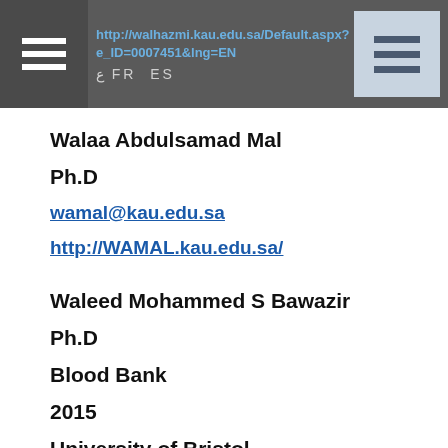http://walhazmi.kau.edu.sa/Default.aspx?e_ID=0007451&lng=EN  ع FR ES
Walaa Abdulsamad Mal
Ph.D
wamal@kau.edu.sa
http://WAMAL.kau.edu.sa/
Waleed Mohammed S Bawazir
Ph.D
Blood Bank
2015
University of Bristol